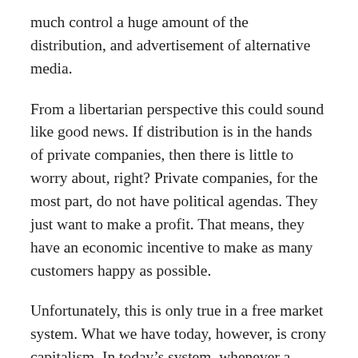much control a huge amount of the distribution, and advertisement of alternative media.
From a libertarian perspective this could sound like good news. If distribution is in the hands of private companies, then there is little to worry about, right? Private companies, for the most part, do not have political agendas. They just want to make a profit. That means, they have an economic incentive to make as many customers happy as possible.
Unfortunately, this is only true in a free market system. What we have today, however, is crony capitalism. In today's system, whenever a company reaches a certain size, or whenever a company crosses political interests, a collusion between the government and that company can be observed. After all, the government can make business very